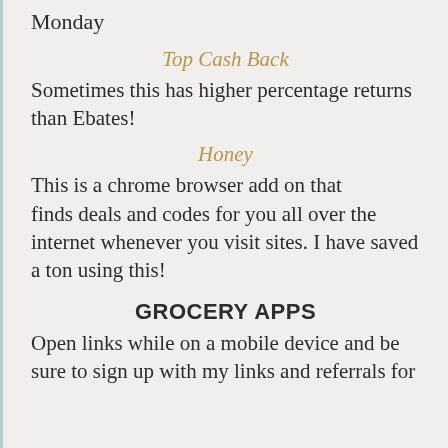Monday
Top Cash Back
Sometimes this has higher percentage returns than Ebates!
Honey
This is a chrome browser add on that finds deals and codes for you all over the internet whenever you visit sites. I have saved a ton using this!
GROCERY APPS
Open links while on a mobile device and be sure to sign up with my links and referrals for the extras and add! More at...